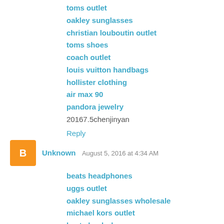toms outlet
oakley sunglasses
christian louboutin outlet
toms shoes
coach outlet
louis vuitton handbags
hollister clothing
air max 90
pandora jewelry
20167.5chenjinyan
Reply
Unknown  August 5, 2016 at 4:34 AM
beats headphones
uggs outlet
oakley sunglasses wholesale
michael kors outlet
beats by dr dre
kate spade uk
cheap nhl jerseys